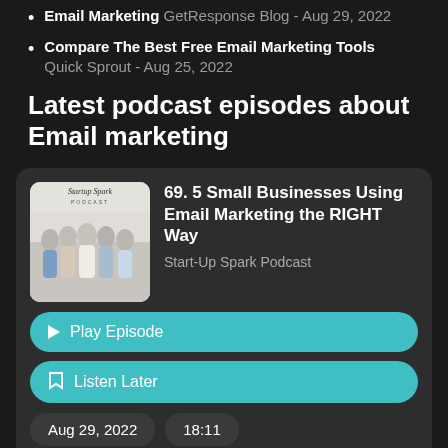Email Marketing GetResponse Blog - Aug 29, 2022
Compare The Best Free Email Marketing Tools Quick Sprout - Aug 25, 2022
Latest podcast episodes about Email marketing
[Figure (other): Startup Spark Podcast thumbnail showing five women posed together with the Startup Spark Podcast logo]
69. 5 Small Businesses Using Email Marketing the RIGHT Way
Start-Up Spark Podcast
▶ Play Episode
Listen Later
Aug 29, 2022
18:11